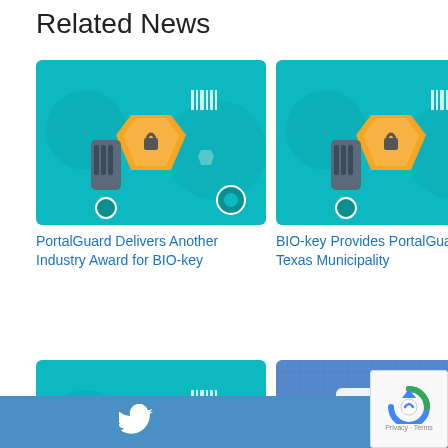Related News
[Figure (illustration): Cybersecurity/BIO-key PortalGuard themed illustration with shields, locks, gears on teal background]
[Figure (illustration): Cybersecurity/BIO-key PortalGuard themed illustration with shields, locks, gears on teal background]
[Figure (illustration): Fingerprint and padlock on dark/black background - security theme]
PortalGuard Delivers Another Industry Award for BIO-key
BIO-key Provides PortalGuard for Texas Municipality
Lawrence County, SD, Embraces PortalGuard Security
[Figure (illustration): Cybersecurity/BIO-key PortalGuard themed illustration with shields, locks, gears on teal background]
[Figure (illustration): Checkbox/voting ballot on pixelated blue grid background]
[Figure (illustration): Cybersecurity/BIO-key PortalGuard themed illustration with shields, locks, gears on teal background]
BIO-key H...
West Coast Election Off...
BIO-key Forms PortalG...